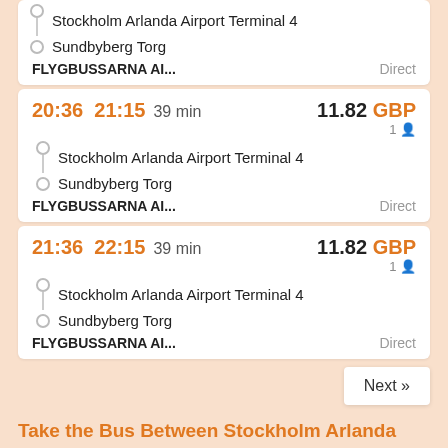Stockholm Arlanda Airport Terminal 4 → Sundbyberg Torg, FLYGBUSSARNA AI..., Direct (partial card top)
20:36  21:15  39 min  11.82 GBP  1 passenger  Stockholm Arlanda Airport Terminal 4  Sundbyberg Torg  FLYGBUSSARNA AI...  Direct
21:36  22:15  39 min  11.82 GBP  1 passenger  Stockholm Arlanda Airport Terminal 4  Sundbyberg Torg  FLYGBUSSARNA AI...  Direct
Next »
Take the Bus Between Stockholm Arlanda